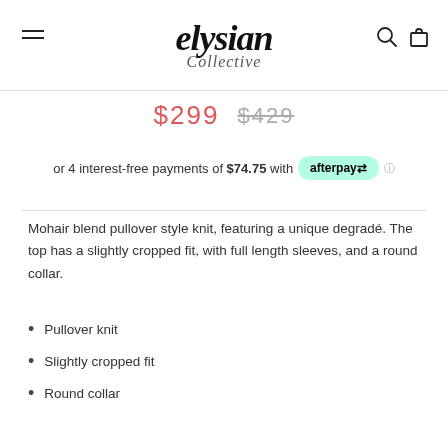elysian Collective
$299  $429
or 4 interest-free payments of $74.75 with afterpay
Mohair blend pullover style knit, featuring a unique degradé. The top has a slightly cropped fit, with full length sleeves, and a round collar.
Pullover knit
Slightly cropped fit
Round collar